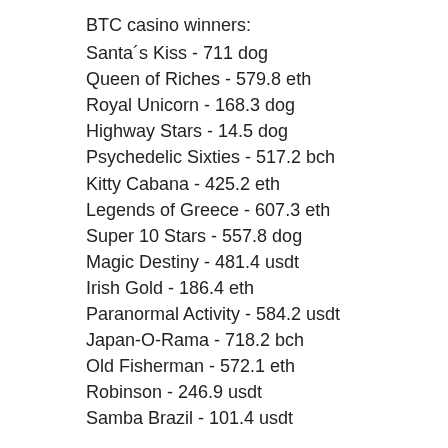BTC casino winners:
Santa´s Kiss - 711 dog
Queen of Riches - 579.8 eth
Royal Unicorn - 168.3 dog
Highway Stars - 14.5 dog
Psychedelic Sixties - 517.2 bch
Kitty Cabana - 425.2 eth
Legends of Greece - 607.3 eth
Super 10 Stars - 557.8 dog
Magic Destiny - 481.4 usdt
Irish Gold - 186.4 eth
Paranormal Activity - 584.2 usdt
Japan-O-Rama - 718.2 bch
Old Fisherman - 572.1 eth
Robinson - 246.9 usdt
Samba Brazil - 101.4 usdt
Play Bitcoin slots:
Bspin.io Casino Panda King
FortuneJack Casino Mighty Kraken